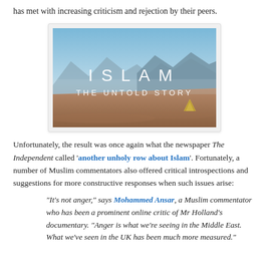has met with increasing criticism and rejection by their peers.
[Figure (photo): Book or documentary cover image with desert landscape and mountains. Text reads 'ISLAM THE UNTOLD STORY' in white lettering on a sky and desert scene.]
Unfortunately, the result was once again what the newspaper The Independent called 'another unholy row about Islam'. Fortunately, a number of Muslim commentators also offered critical introspections and suggestions for more constructive responses when such issues arise:
"It's not anger," says Mohammed Ansar, a Muslim commentator who has been a prominent online critic of Mr Holland's documentary. "Anger is what we're seeing in the Middle East. What we've seen in the UK has been much more measured."